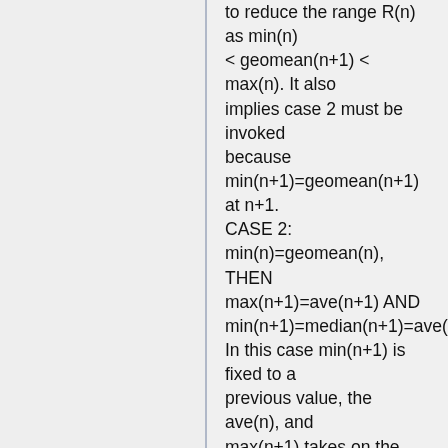to reduce the range R(n) as min(n) < geomean(n+1) < max(n). It also implies case 2 must be invoked because min(n+1)=geomean(n+1) at n+1.
CASE 2: min(n)=geomean(n), THEN max(n+1)=ave(n+1) AND min(n+1)=median(n+1)=ave(n)
In this case min(n+1) is fixed to a previous value, the ave(n), and max(n+1) takes on the new ave(n+1) which is guaranteed to reduce the range R(n) as min(n) < ave(n+1) < max(n). It also implies case 1 must be invoked because max(n+1)=ave(n+1) at n+1.
Each case forces the range to be reduced while also forcing the alternate case on the next iteration.